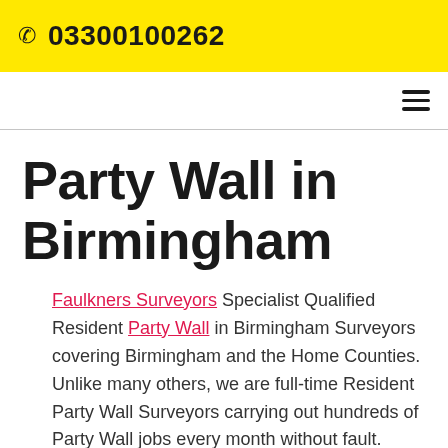03300100262
Party Wall in Birmingham
Faulkners Surveyors Specialist Qualified Resident Party Wall in Birmingham Surveyors covering Birmingham and the Home Counties. Unlike many others, we are full-time Resident Party Wall Surveyors carrying out hundreds of Party Wall jobs every month without fault.
Party wall Birmingham